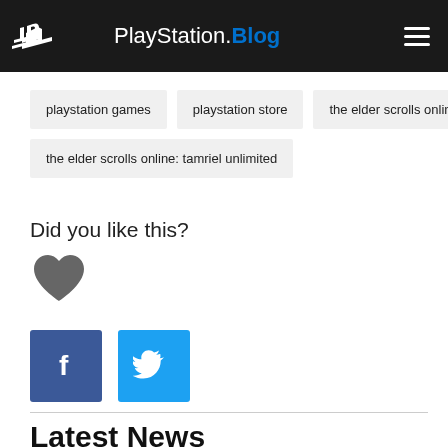PlayStation.Blog
playstation games
playstation store
the elder scrolls online
the elder scrolls online: tamriel unlimited
Did you like this?
[Figure (illustration): Gray heart icon for liking content]
[Figure (logo): Facebook share button (blue square with white f)]
[Figure (logo): Twitter share button (blue square with white bird)]
Latest News